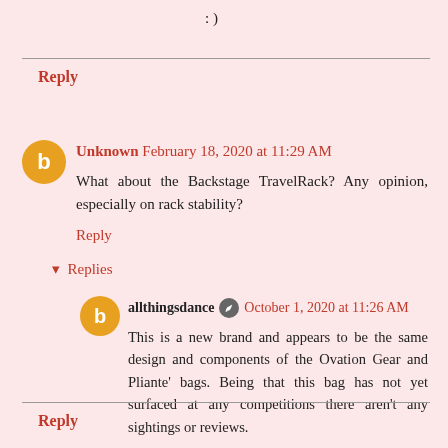: )
Reply
Unknown  February 18, 2020 at 11:29 AM
What about the Backstage TravelRack? Any opinion, especially on rack stability?
Reply
▾  Replies
allthingsdance  October 1, 2020 at 11:26 AM
This is a new brand and appears to be the same design and components of the Ovation Gear and Pliante' bags. Being that this bag has not yet surfaced at any competitions there aren't any sightings or reviews.
Reply